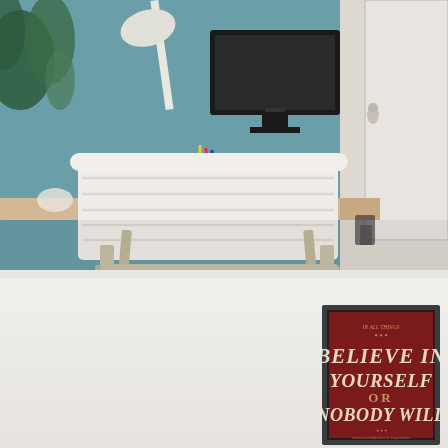[Figure (photo): Office workspace scene showing a white upholstered chair with chrome frame in front of a wooden desk. A Dell computer monitor, desk lamp, and plant are visible in the background against a teal/blue wall. A white door is visible on the right side.]
[Figure (photo): Framed motivational poster with dark red/maroon background and vintage typography reading 'BELIEVE IN YOURSELF OR NOBODY WILL' with small decorative text above.]